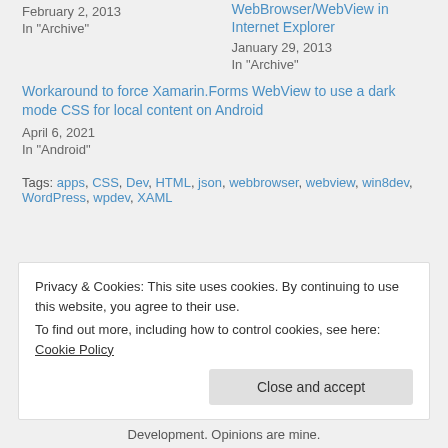February 2, 2013
In "Archive"
WebBrowser/WebView in Internet Explorer
January 29, 2013
In "Archive"
Workaround to force Xamarin.Forms WebView to use a dark mode CSS for local content on Android
April 6, 2021
In "Android"
Tags: apps, CSS, Dev, HTML, json, webbrowser, webview, win8dev, WordPress, wpdev, XAML
Privacy & Cookies: This site uses cookies. By continuing to use this website, you agree to their use.
To find out more, including how to control cookies, see here: Cookie Policy
Close and accept
Development. Opinions are mine.